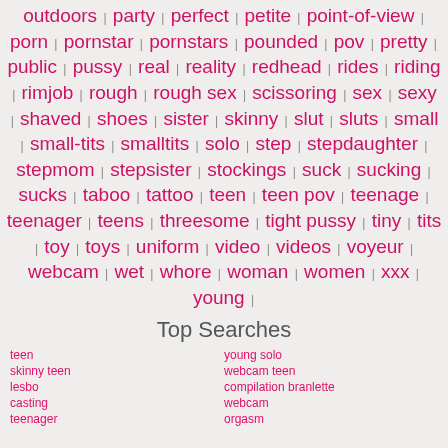outdoors | party | perfect | petite | point-of-view | porn | pornstar | pornstars | pounded | pov | pretty | public | pussy | real | reality | redhead | rides | riding | rimjob | rough | rough sex | scissoring | sex | sexy | shaved | shoes | sister | skinny | slut | sluts | small | small-tits | smalltits | solo | step | stepdaughter | stepmom | stepsister | stockings | suck | sucking | sucks | taboo | tattoo | teen | teen pov | teenage | teenager | teens | threesome | tight pussy | tiny | tits | toy | toys | uniform | video | videos | voyeur | webcam | wet | whore | woman | women | xxx | young |
Top Searches
| teen | young solo |
| skinny teen | webcam teen |
| lesbo | compilation branlette |
| casting | webcam |
| teenager | orgasm |